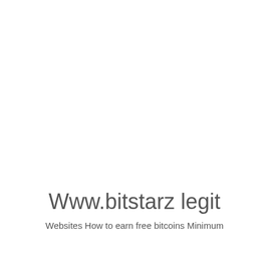Www.bitstarz legit
Websites How to earn free bitcoins Minimum